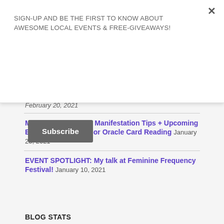SIGN-UP AND BE THE FIRST TO KNOW ABOUT AWESOME LOCAL EVENTS & FREE-GIVEAWAYS!
Subscribe
February 20, 2021
Media Monday Vlog: Manifestation Tips + Upcoming Events + Earth Warrior Oracle Card Reading January 25, 2021
EVENT SPOTLIGHT: My talk at Feminine Frequency Festival! January 10, 2021
BLOG STATS